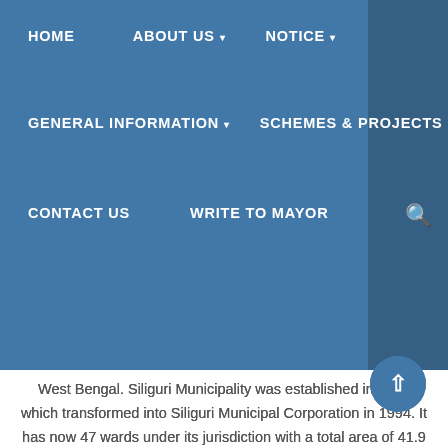HOME   ABOUT US ▾   NOTICE ▾   GENERAL INFORMATION ▾   SCHEMES & PROJECTS   CONTACT US   WRITE TO MAYOR   🔍
West Bengal. Siliguri Municipality was established in 1949 which transformed into Siliguri Municipal Corporation in 1994. It has now 47 wards under its jurisdiction with a total area of 41.9 sq. km.
My first and foremost priority is now to streamline the management of Covid pandemic on a war footing in close coordination with district administration of Darjeeling and Jalpaiguri and Health Department in order to